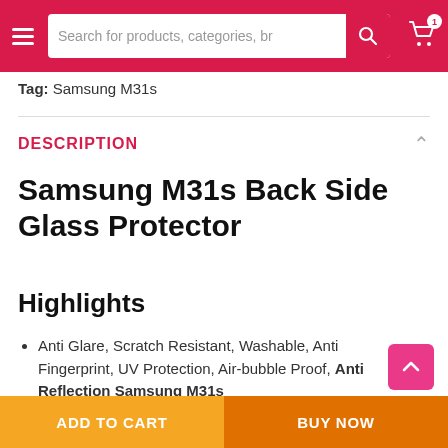Search for products, categories, br
Tag: Samsung M31s
DESCRIPTION
Samsung M31s Back Side Glass Protector
Highlights
Anti Glare, Scratch Resistant, Washable, Anti Fingerprint, UV Protection, Air-bubble Proof, Anti Reflection Samsung M31s
ADD TO CART | BUY NOW